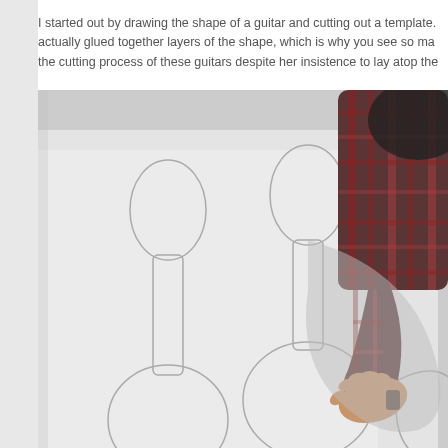I started out by drawing the shape of a guitar and cutting out a template. actually glued together layers of the shape, which is why you see so ma the cutting process of these guitars despite her insistence to lay atop the
[Figure (photo): A child wearing a plaid shirt leans over a large white sheet of paper on which the outline of a guitar shape has been drawn. The child's hand is pressed flat on the paper near the guitar body outline.]